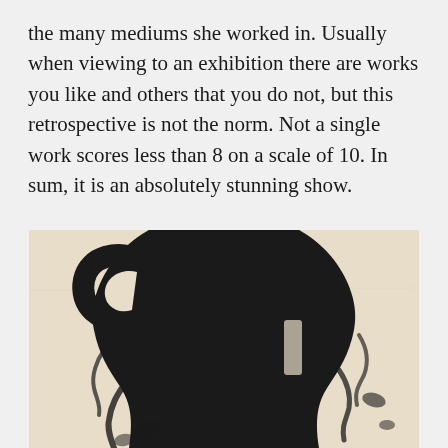the many mediums she worked in. Usually when viewing to an exhibition there are works you like and others that you do not, but this retrospective is not the norm. Not a single work scores less than 8 on a scale of 10. In sum, it is an absolutely stunning show.
[Figure (photo): Abstract black ink or paint artwork on a light beige/cream background, showing a large dark form suggestive of a vase or vessel shape, with heavy brushwork and drips.]